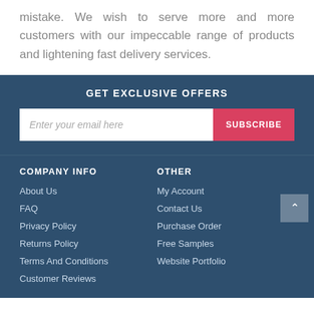mistake. We wish to serve more and more customers with our impeccable range of products and lightening fast delivery services.
GET EXCLUSIVE OFFERS
Enter your email here | SUBSCRIBE
COMPANY INFO
OTHER
About Us
My Account
FAQ
Contact Us
Privacy Policy
Purchase Order
Returns Policy
Free Samples
Terms And Conditions
Website Portfolio
Customer Reviews